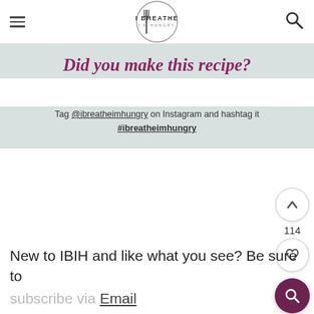I BREATHE I'M HUNGRY
Did you make this recipe?
Tag @ibreatheimhungry on Instagram and hashtag it #ibreatheimhungry
New to IBIH and like what you see? Be sure to subscribe via Email